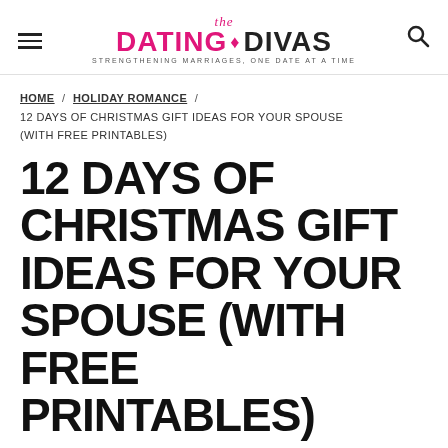the DATING DIVAS — STRENGTHENING MARRIAGES, ONE DATE AT A TIME
HOME / HOLIDAY ROMANCE / 12 DAYS OF CHRISTMAS GIFT IDEAS FOR YOUR SPOUSE (WITH FREE PRINTABLES)
12 DAYS OF CHRISTMAS GIFT IDEAS FOR YOUR SPOUSE (WITH FREE PRINTABLES)
written by Julie